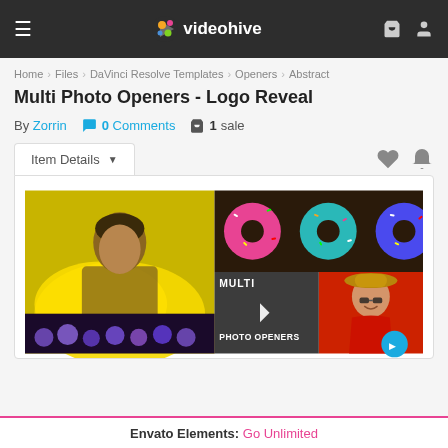videohive
Home > Files > DaVinci Resolve Templates > Openers > Abstract
Multi Photo Openers - Logo Reveal
By Zorrin  0 Comments  1 sale
Item Details
[Figure (screenshot): Video preview thumbnail showing multiple photos: a man with yellow smoke, colorful sprinkle donuts, a woman in a red dress with a hat, and a video play button overlay with text MULTI PHOTO OPENERS]
Envato Elements: Go Unlimited